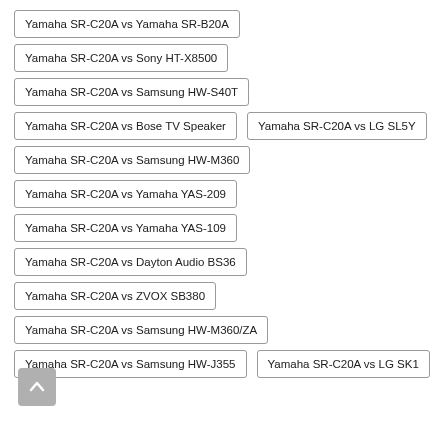Yamaha SR-C20A vs Yamaha SR-B20A
Yamaha SR-C20A vs Sony HT-X8500
Yamaha SR-C20A vs Samsung HW-S40T
Yamaha SR-C20A vs Bose TV Speaker
Yamaha SR-C20A vs LG SL5Y
Yamaha SR-C20A vs Samsung HW-M360
Yamaha SR-C20A vs Yamaha YAS-209
Yamaha SR-C20A vs Yamaha YAS-109
Yamaha SR-C20A vs Dayton Audio BS36
Yamaha SR-C20A vs ZVOX SB380
Yamaha SR-C20A vs Samsung HW-M360/ZA
Yamaha SR-C20A vs Samsung HW-J355
Yamaha SR-C20A vs LG SK1